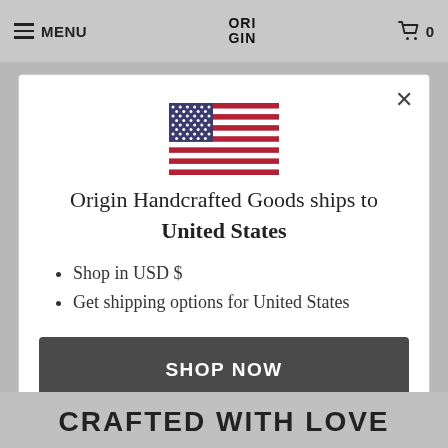MENU  ORI GIN  🛒 0
[Figure (illustration): US flag SVG illustration inside modal dialog]
Origin Handcrafted Goods ships to United States
Shop in USD $
Get shipping options for United States
SHOP NOW
CHANGE SHIPPING COUNTRY
CRAFTED WITH LOVE